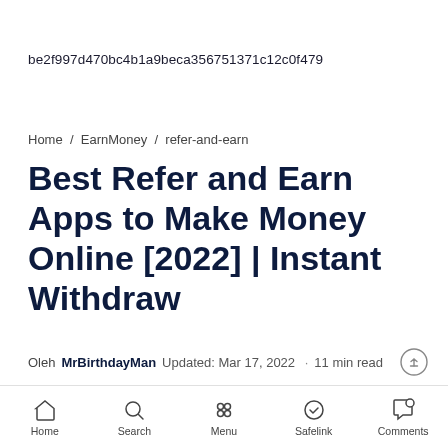be2f997d470bc4b1a9beca356751371c12c0f479
Home / EarnMoney / refer-and-earn
Best Refer and Earn Apps to Make Money Online [2022] | Instant Withdraw
Oleh MrBirthdayMan  Updated: Mar 17, 2022  ·  11 min read
Don't know what Best Refer and Earn apps are in
Home  Search  Menu  Safelink  Comments